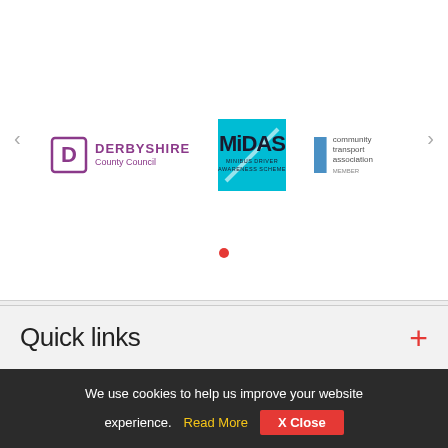[Figure (logo): Carousel showing three logos: Derbyshire County Council, MiDAS Minibus Driver Awareness Scheme, and Community Transport Association. Navigation arrows on left and right. Single red dot indicator below.]
Quick links
We use cookies to help us improve your website experience. Read More  X Close